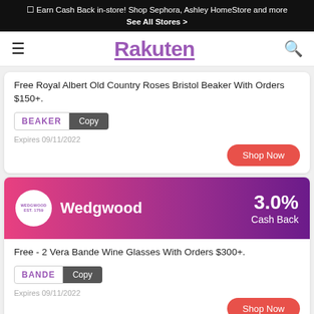☐ Earn Cash Back in-store! Shop Sephora, Ashley HomeStore and more See All Stores >
Rakuten
Free Royal Albert Old Country Roses Bristol Beaker With Orders $150+.
BEAKER  Copy
Expires 09/11/2022
Shop Now
[Figure (logo): Wedgwood brand header with gradient pink-to-purple background, circular logo, brand name, and 3.0% Cash Back badge]
Free - 2 Vera Bande Wine Glasses With Orders $300+.
BANDE  Copy
Expires 09/11/2022
Shop Now